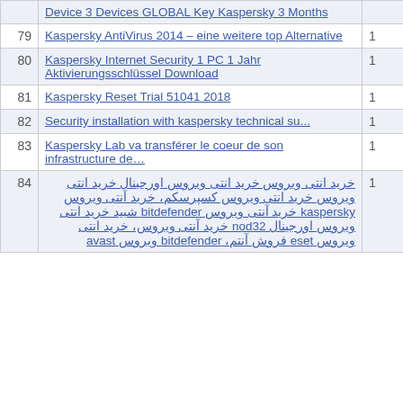| # | Link | Count |
| --- | --- | --- |
|  | Device 3 Devices GLOBAL Key Kaspersky 3 Months |  |
| 79 | Kaspersky AntiVirus 2014 – eine weitere top Alternative | 1 |
| 80 | Kaspersky Internet Security 1 PC 1 Jahr Aktivierungsschlüssel Download | 1 |
| 81 | Kaspersky Reset Trial 51041 2018 | 1 |
| 82 | Security installation with kaspersky technical su... | 1 |
| 83 | Kaspersky Lab va transférer le coeur de son infrastructure de... | 1 |
| 84 | خرید انتی ویروس خرید انتی ویروس اورجینال خرید انتی ویروس خرید انتی ویروس کسپرسکم، خرید آنتی ویروس kaspersky خرید آنتی ویروس bitdefender شبید خرید انتی ویروس اورجینال nod32 خرید آنتی ویروس، خرید انتی ویروس eset فروش آنتم، bitdefender ویروس avast | 1 |